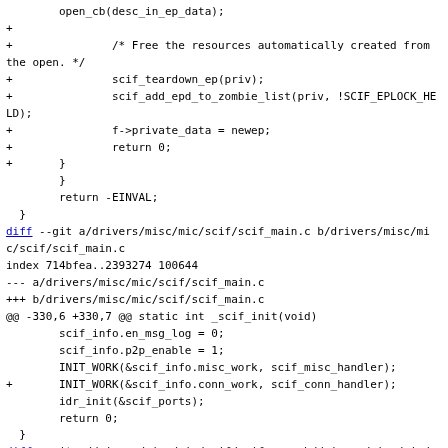Code diff showing changes to scif_open.c and scif_main.c and scif_nm.c in drivers/misc/mic/scif/